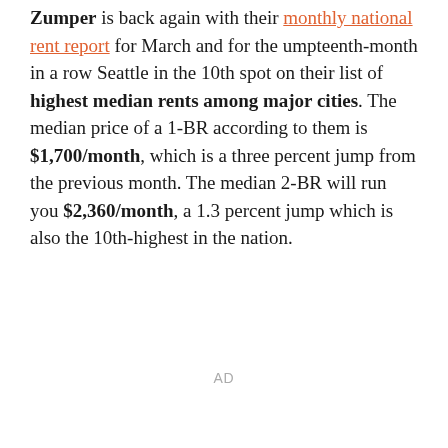Zumper is back again with their monthly national rent report for March and for the umpteenth-month in a row Seattle in the 10th spot on their list of highest median rents among major cities. The median price of a 1-BR according to them is $1,700/month, which is a three percent jump from the previous month. The median 2-BR will run you $2,360/month, a 1.3 percent jump which is also the 10th-highest in the nation.
AD